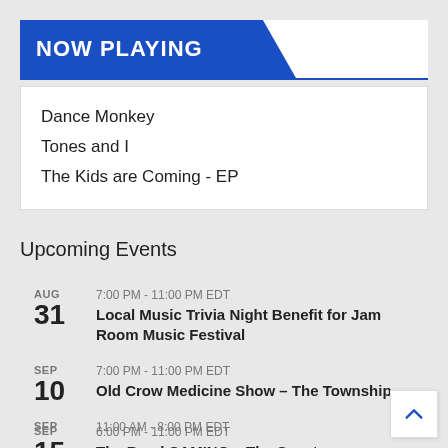NOW PLAYING
Dance Monkey
Tones and I
The Kids are Coming - EP
Upcoming Events
AUG 31 | 7:00 PM - 11:00 PM EDT | Local Music Trivia Night Benefit for Jam Room Music Festival
SEP 10 | 7:00 PM - 11:00 PM EDT | Old Crow Medicine Show – The Township
SEP 15 | 6:00 PM - 11:00 PM EDT | The Band CAMINO – The Senate
SEP | 11:00 AM - 8:00 PM EDT